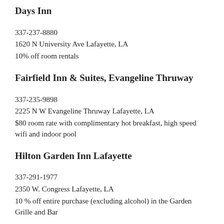Days Inn
337-237-8880
1620 N University Ave Lafayette, LA
10% off room rentals
Fairfield Inn & Suites, Evangeline Thruway
337-235-9898
2225 N W Evangeline Thruway Lafayette, LA
$80 room rate with complimentary hot breakfast, high speed wifi and indoor pool
Hilton Garden Inn Lafayette
337-291-1977
2350 W. Congress Lafayette, LA
10 % off entire purchase (excluding alcohol) in the Garden Grille and Bar
Retail & Sales